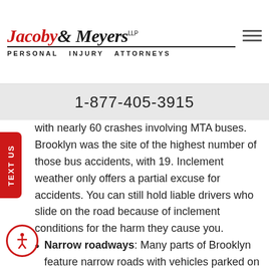[Figure (logo): Jacoby & Meyers LLP Personal Injury Attorneys logo]
1-877-405-3915
with nearly 60 crashes involving MTA buses. Brooklyn was the site of the highest number of those bus accidents, with 19. Inclement weather only offers a partial excuse for accidents. You can still hold liable drivers who slide on the road because of inclement conditions for the harm they cause you.
Narrow roadways: Many parts of Brooklyn feature narrow roads with vehicles parked on either side. This reduces the visibility that the driver